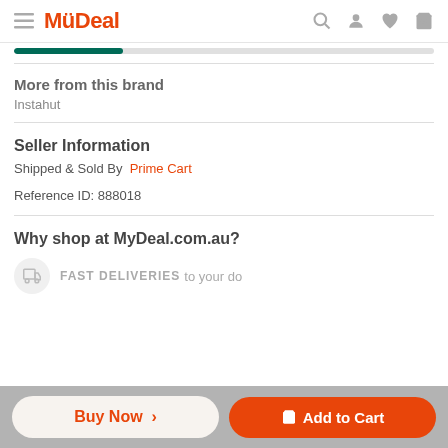MyDeal
More from this brand
Instahut
Seller Information
Shipped & Sold By  Prime Cart
Reference ID: 888018
Why shop at MyDeal.com.au?
FAST DELIVERIES
Buy Now >
Add to Cart